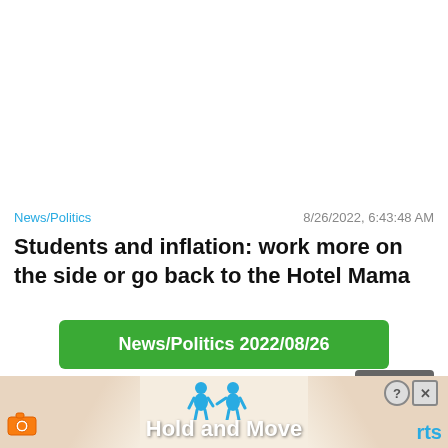News/Politics   8/26/2022, 6:43:48 AM
Students and inflation: work more on the side or go back to the Hotel Mama
News/Politics 2022/08/26
Close X
[Figure (screenshot): Advertisement banner at the bottom showing 'Hold and Move' with cartoon figures, a camera icon on the left, 'rts' on the right, and close/help icons.]